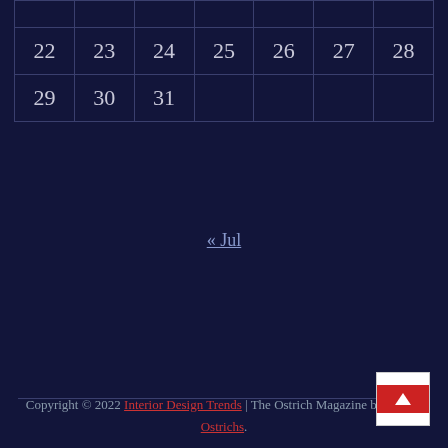|  |  |  |  |  |  |  |
| 22 | 23 | 24 | 25 | 26 | 27 | 28 |
| 29 | 30 | 31 |  |  |  |  |
« Jul
Copyright © 2022 Interior Design Trends | The Ostrich Magazine by Theme Ostrichs.